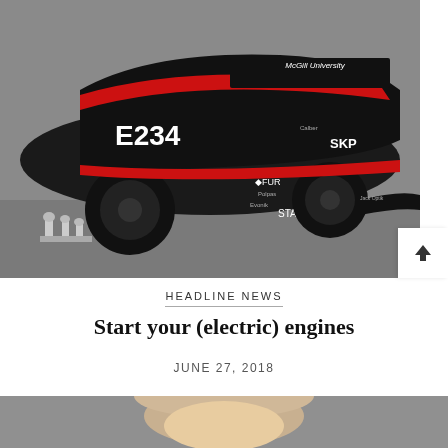[Figure (photo): A black Formula SAE style race car with McGill University branding and number E234, with red accents and sponsor logos including SKF, FUR, STANLEY, Evonik. Several trophies visible beside the car on a paved surface.]
HEADLINE NEWS
Start your (electric) engines
JUNE 27, 2018
[Figure (photo): Partial portrait photo of a person, showing top of head with light hair against a gray background.]